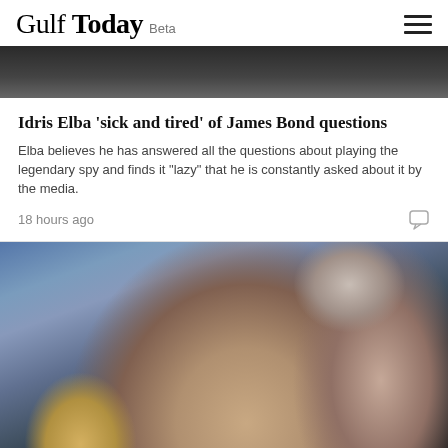Gulf Today Beta
[Figure (photo): Top portion of a dark/black and white photo, partially cropped at top of page]
Idris Elba 'sick and tired' of James Bond questions
Elba believes he has answered all the questions about playing the legendary spy and finds it "lazy" that he is constantly asked about it by the media.
18 hours ago
[Figure (photo): Photo of a man in a dark suit gesturing with his hand at what appears to be the Oscars or similar awards event, with a woman in a black dress beside him and golden Oscar statues visible in the background]